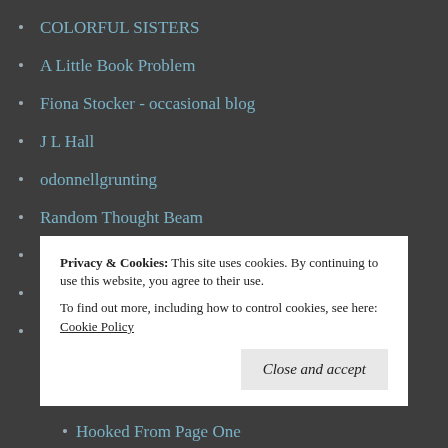COLORFUL SISTERS
A Little Book Problem
Fiona Stocker - occasional blog
J L Hall
odonnellgrunting
Random Thought Beam
Wild Soul Walks
Ailish Sinclair
Hooked From Page One
Privacy & Cookies:  This site uses cookies. By continuing to use this website, you agree to their use.
To find out more, including how to control cookies, see here: Cookie Policy
Hooked From Page One (partially visible at bottom)